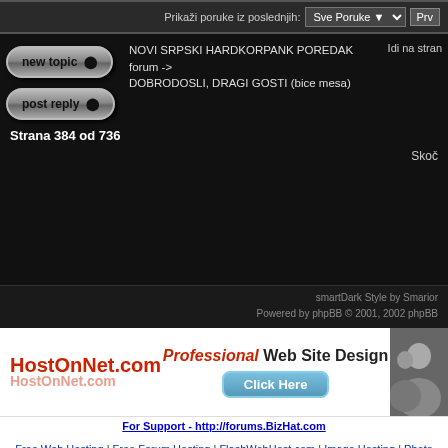Prikaži poruke iz poslednjih: Sve Poruke  Prv
NOVI SRPSKI HARDKORPANK POREDAK forum -> DOBRODOSLI, DRAGI GOSTI (bice mesa)
Idi na stran
Strana 384 od 736
Skoč
smartDark Style by Smarior
Powered by phpBB © 2001, 2002 phpBB
[Figure (infographic): HostOnNet.com advertisement banner with red bold text 'HostOnNet.com', italic red 'Professional' and dark 'Web Site Design', a blue 'Click Here' button, and a photo of people]
For Support - http://forums.BizHat.com
Free Web Hosting | Free Forum Hosting | FlashWebHost.com | Image Hosting | Photo Gallery | FreeMarriage.com
Powered by PhpBBweb.com, setup your forum now!